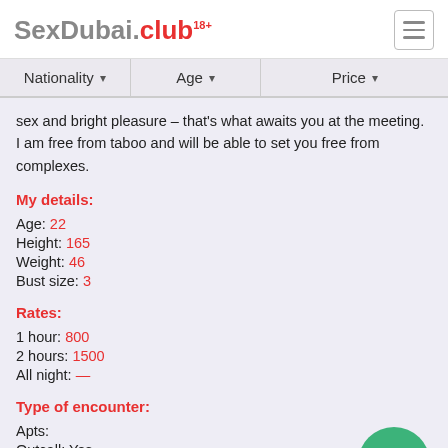SexDubai.club 18+
Nationality  Age  Price
sex and bright pleasure – that's what awaits you at the meeting. I am free from taboo and will be able to set you free from complexes.
My details:
Age: 22
Height: 165
Weight: 46
Bust size: 3
Rates:
1 hour: 800
2 hours: 1500
All night: —
Type of encounter:
Apts:
Outcall: Yes